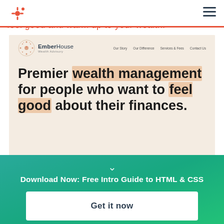[Figure (screenshot): HubSpot webpage screenshot showing EmberHouse Wealth Advisory website. The EmberHouse site features a nav bar with logo and links (Our Story, Our Difference, Services & Fees, Contact Us), and a large headline: 'Premier wealth management for people who want to feel good about their finances.' with underline highlights on 'wealth management' and 'feel good'. Below is partial body text about taking people from money fear to financial decisions.]
feel good  and  warm up to your wealth.
Download Now: Free Intro Guide to HTML & CSS
Get it now